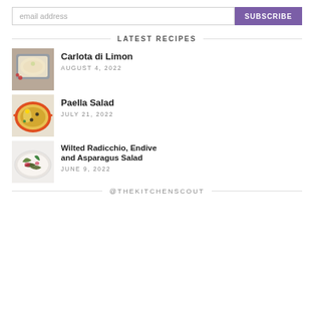email address
SUBSCRIBE
LATEST RECIPES
[Figure (photo): Carlota di Limon dessert in a blue dish]
Carlota di Limon
AUGUST 4, 2022
[Figure (photo): Paella Salad in an orange bowl]
Paella Salad
JULY 21, 2022
[Figure (photo): Wilted Radicchio, Endive and Asparagus Salad on a white plate]
Wilted Radicchio, Endive and Asparagus Salad
JUNE 9, 2022
@THEKITCHENSCOUT